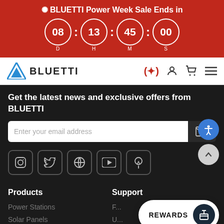✺ BLUETTI Power Week Sale Ends in 08 D : 13 H : 45 M : 00 S
[Figure (logo): BLUETTI logo with blue triangular arrow icon and bold text]
Get the latest news and exclusive offers from BLUETTI
Enter your email address
[Figure (infographic): Social media icons: Instagram, Twitter, Community, YouTube, Pinterest]
Products
Support
Power Stations
Solar Panels
REWARDS